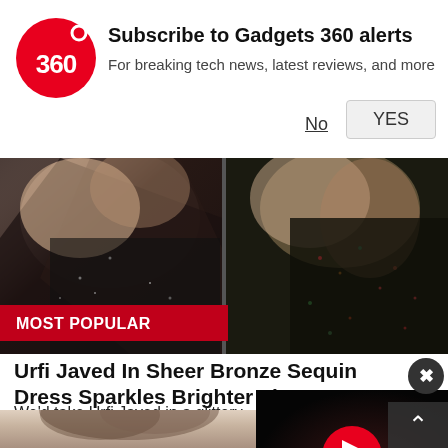[Figure (logo): Gadgets 360 red circle logo with '360' text]
Subscribe to Gadgets 360 alerts
For breaking tech news, latest reviews, and more
No
YES
[Figure (photo): Two side-by-side photos showing a woman in dark sequin outfits with 'MOST POPULAR' badge overlay]
Urfi Javed In Sheer Bronze Sequin Dress Sparkles Brighter Than A Galaxy Full Of Stars
We'd take Urfi Javed in a glittery dress over a galaxy full of stars any day
Swirlster
[Figure (screenshot): Video player overlay with red play button on dark background]
[Figure (photo): Portrait photo of a young woman, bottom of page]
[Figure (photo): Small thumbnail of a child, bottom right corner]